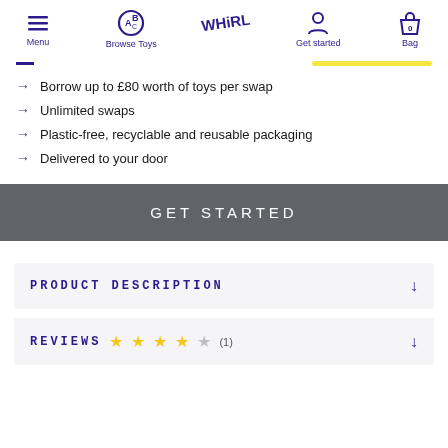Menu | Browse Toys | WHiRLi | Get started | Bag 0
Borrow up to £80 worth of toys per swap
Unlimited swaps
Plastic-free, recyclable and reusable packaging
Delivered to your door
GET STARTED
PRODUCT DESCRIPTION
REVIEWS (1)